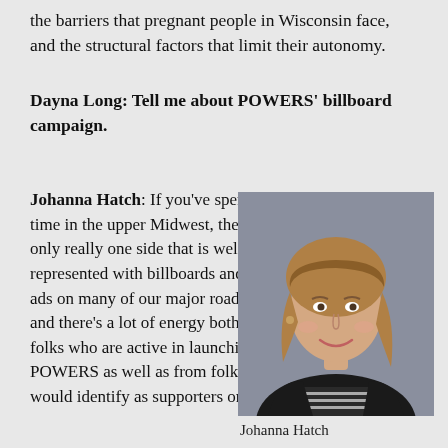the barriers that pregnant people in Wisconsin face, and the structural factors that limit their autonomy.
Dayna Long: Tell me about POWERS' billboard campaign.
Johanna Hatch: If you've spent any time in the upper Midwest, there is only really one side that is well represented with billboards and large ads on many of our major roadways, and there's a lot of energy both from folks who are active in launching POWERS as well as from folks who would identify as supporters or
[Figure (photo): Portrait photograph of Johanna Hatch, a woman with long light brown hair, smiling, wearing a black blazer over a striped shirt, against a gray background.]
Johanna Hatch